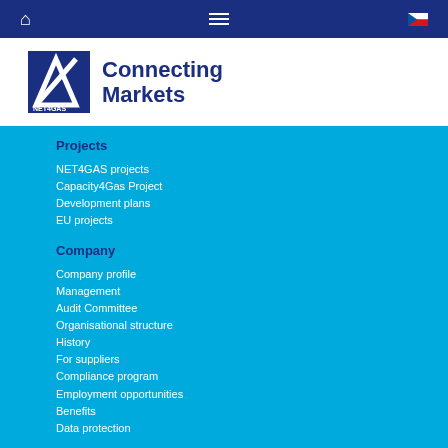[Figure (screenshot): Navigation bar with home icon, hamburger menu, and Czech flag icon on dark blue background]
[Figure (logo): NET4GAS logo with text 'Connecting Markets']
Projects
NET4GAS projects
Capacity4Gas Project
Development plans
EU projects
Company
Company profile
Management
Audit Committee
Organisational structure
History
For suppliers
Compliance program
Employment opportunities
Benefits
Data protection